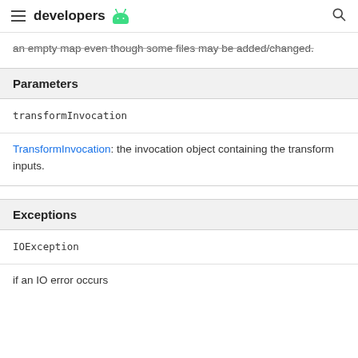developers
an empty map even though some files may be added/changed.
| Parameters |
| --- |
| transformInvocation |
| TransformInvocation: the invocation object containing the transform inputs. |
| Exceptions |
| --- |
| IOException |
| if an IO error occurs |
if an IO error occurs